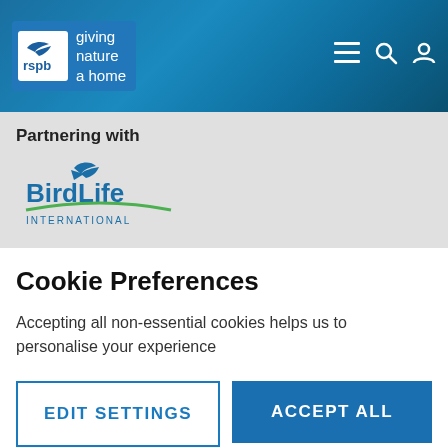[Figure (logo): RSPB logo with bird icon and text 'giving nature a home' on blue header background with hamburger menu, search, and user icons]
Partnering with
[Figure (logo): BirdLife International logo with blue bird icon and green swoosh]
The RSPB is a member of BirdLife International. Find out more about the partnership
[Figure (logo): Fundraising Regulator logo - circular FR badge in purple, with 'Registered with FUNDRAISING' text]
Cookie Preferences
Accepting all non-essential cookies helps us to personalise your experience
EDIT SETTINGS
ACCEPT ALL